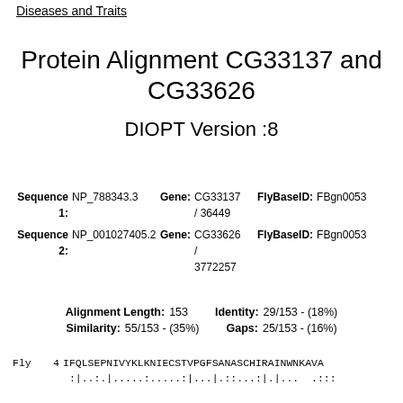Diseases and Traits
Protein Alignment CG33137 and CG33626
DIOPT Version :8
Sequence 1: NP_788343.3  Gene: CG33137 / 36449  FlyBaseID: FBgn0053
Sequence 2: NP_001027405.2  Gene: CG33626 / 3772257  FlyBaseID: FBgn0053
Alignment Length: 153   Identity: 29/153 - (18%)   Similarity: 55/153 - (35%)   Gaps: 25/153 - (16%)
Fly  4 IFQLSEPNIVYKLKNIECSTVPGFSANASCHIRAINWNKAVA
       :|..:.|.....:.....:|...|.::...:|.|...  .:::